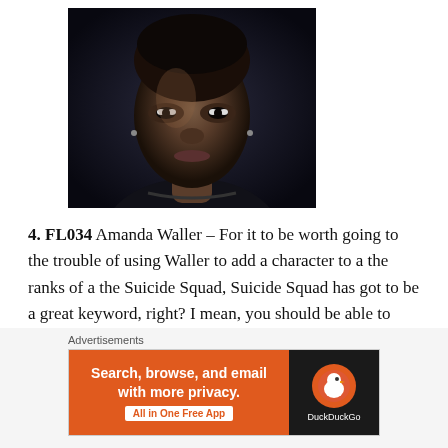[Figure (photo): Close-up portrait of a woman with dark skin and short dark hair, wearing a dark top, looking directly at the camera with a serious expression. Dark background lighting.]
4. FL034 Amanda Waller – For it to be worth going to the trouble of using Waller to add a character to a the ranks of a the Suicide Squad, Suicide Squad has got to be a great keyword, right? I mean, you should be able to assemble one hell of a Themed Team right? Well... not so
Advertisements Search, browse, and email with more privacy. All in One Free App DuckDuckGo